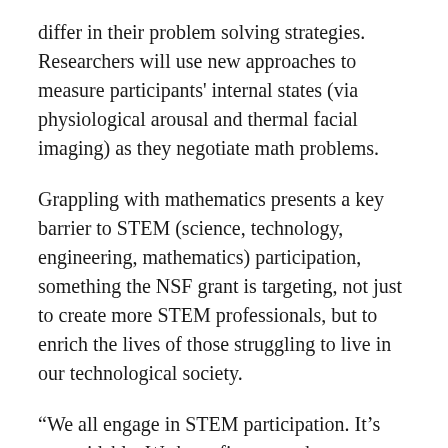differ in their problem solving strategies. Researchers will use new approaches to measure participants' internal states (via physiological arousal and thermal facial imaging) as they negotiate math problems.
Grappling with mathematics presents a key barrier to STEM (science, technology, engineering, mathematics) participation, something the NSF grant is targeting, not just to create more STEM professionals, but to enrich the lives of those struggling to live in our technological society.
“We all engage in STEM participation. It’s unavoidable. We have finances where we need to make decisions based on interest, and we need to understand probabilities as they involve our health. These are math concepts, and we want to increase literacy in all